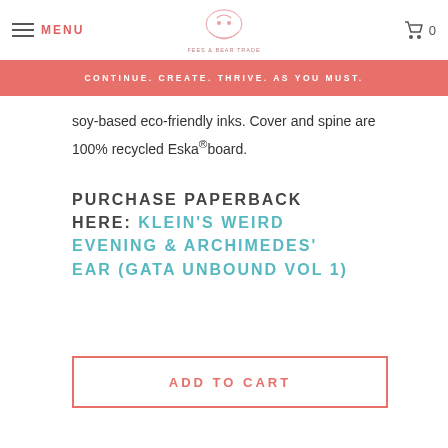MENU | [logo] | 0
CONTINUE. CREATE. THRIVE. AS YOU MUST.
soy-based eco-friendly inks. Cover and spine are 100% recycled Eska®board.
PURCHASE PAPERBACK HERE: KLEIN'S WEIRD EVENING & ARCHIMEDES' EAR (GATA UNBOUND VOL 1)
ADD TO CART